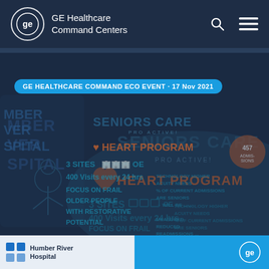GE Healthcare Command Centers
[Figure (screenshot): GE Healthcare Command Centers website screenshot showing a navigation bar with GE logo and site name, a hero section with a darkened illustrated background showing a 'Seniors Care Pro Active! Heart Program' infographic from Humber River Hospital with details: 3 sites, 400 visits every 24 hrs, focus on frail older people with restorative potential, and an event tag reading 'GE HEALTHCARE COMMAND ECO EVENT · 17 Nov 2021']
GE HEALTHCARE COMMAND ECO EVENT · 17 Nov 2021